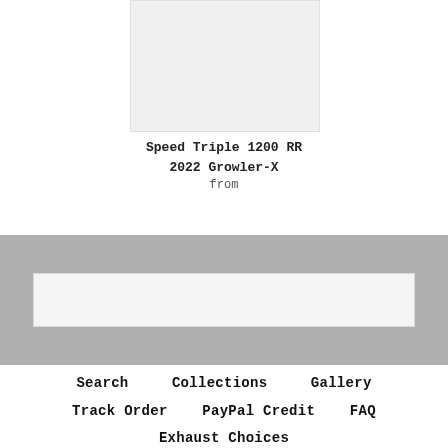[Figure (photo): Product image placeholder for Speed Triple 1200 RR 2022 Growler-X exhaust]
Speed Triple 1200 RR
2022 Growler-X
from
[Figure (other): Search bar input field within a gray banner/bar]
Search
Collections
Gallery
Track Order
PayPal Credit
FAQ
Exhaust Choices